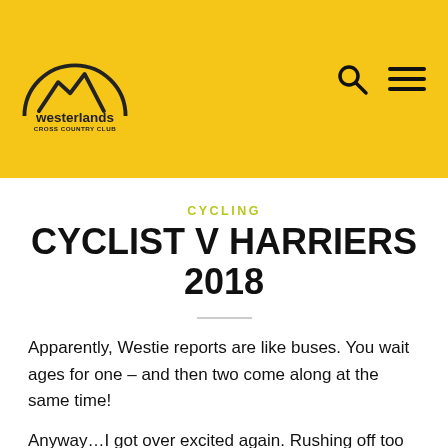[Figure (logo): Westerlands Cross Country Club logo: mountain/hills outline in a semicircle with text 'westerlands CROSS COUNTRY CLUB' on a yellow background]
CYCLING
CYCLIST V HARRIERS 2018
Apparently, Westie reports are like buses. You wait ages for one – and then two come along at the same time!
Anyway…I got over excited again. Rushing off too fast at the start of a race. I wanted to nail the first